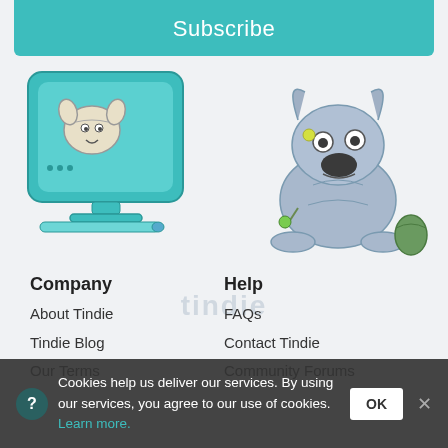Subscribe
[Figure (illustration): Robot dog on a teal iMac-style computer with a stylus, illustrated cartoon style]
[Figure (illustration): Robot dog sitting next to a computer mouse, illustrated cartoon style in blue-grey tones]
Company
About Tindie
Tindie Blog
Our Terms
Help
FAQs
Contact Tindie
Community Forums
Cookies help us deliver our services. By using our services, you agree to our use of cookies. Learn more. OK